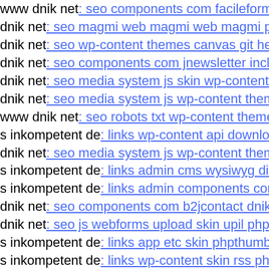www dnik net: seo components com facileforms libraries g
dnik net: seo magmi web magmi web magmi php
dnik net: seo wp-content themes canvas git head
dnik net: seo components com jnewsletter includes openfla
dnik net: seo media system js skin wp-content plugins revo
dnik net: seo media system js wp-content themes notes sty
www dnik net: seo robots txt wp-content themes freshnew
s inkompetent de: links wp-content api downloader wp-co
dnik net: seo media system js wp-content themes canvas d
s inkompetent de: links admin cms wysiwyg directive skin
s inkompetent de: links admin components com b2jcontact
dnik net: seo components com b2jcontact dnik net
dnik net: seo js webforms upload skin upil php
s inkompetent de: links app etc skin phpthumb phpthumb p
s inkompetent de: links wp-content skin rss php'
dnik org: index home htt1658015630
mail inkompetent de: links components com b2jcontact co
s inkompetent de: links app etcj
dnik org: index assets vendor jquery filer examples default
dnik net: seo media components com b2jcontact media co
www s inkompetent de: links app etc skin zink php